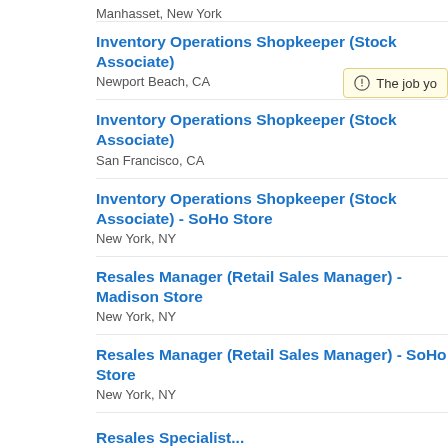Manhasset, New York
Inventory Operations Shopkeeper (Stock Associate)
Newport Beach, CA
Inventory Operations Shopkeeper (Stock Associate)
San Francisco, CA
Inventory Operations Shopkeeper (Stock Associate) - SoHo Store
New York, NY
Resales Manager (Retail Sales Manager) - Madison Store
New York, NY
Resales Manager (Retail Sales Manager) - SoHo Store
New York, NY
Resales Specialist...Sales Associate...